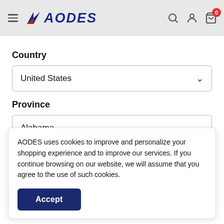[Figure (screenshot): AODES e-commerce website header with hamburger menu, AODES logo in dark blue italic, search icon, account icon, and cart icon with badge showing 0]
Country
United States
Province
Alabama
Zip code
AODES uses cookies to improve and personalize your shopping experience and to improve our services. If you continue browsing on our website, we will assume that you agree to the use of such cookies.
Accept